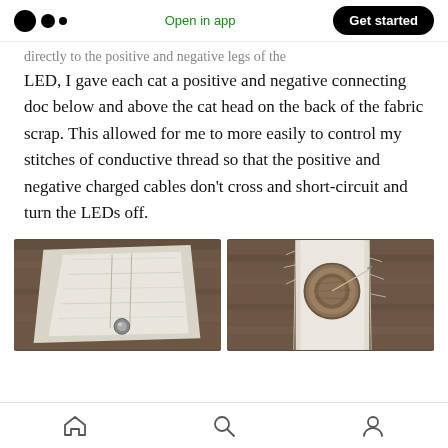Medium logo | Open in app | Get started
...directly to the positive and negative legs of the LED, I gave each cat a positive and negative connecting doc below and above the cat head on the back of the fabric scrap. This allowed for me to more easily to control my stitches of conductive thread so that the positive and negative charged cables don't cross and short-circuit and turn the LEDs off.
[Figure (photo): Photo of fabric scrap showing conductive thread stitching on back side with LED visible]
[Figure (photo): Photo of fabric scrap showing coin cell battery holder with conductive thread]
Home | Search | Profile navigation icons